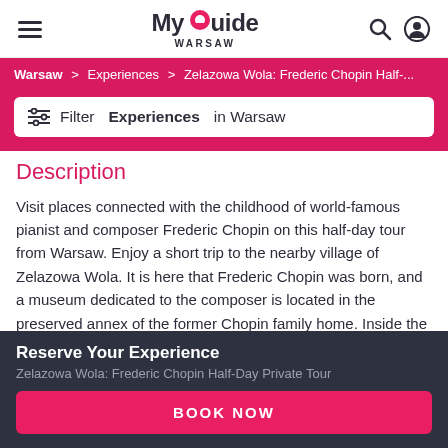My Guide WARSAW
Warsaw > Experiences > Zelazowa Wola: Frederic Chopin Half-...
Filter Experiences in Warsaw
Description
Visit places connected with the childhood of world-famous pianist and composer Frederic Chopin on this half-day tour from Warsaw. Enjoy a short trip to the nearby village of Zelazowa Wola. It is here that Frederic Chopin was born, and a museum dedicated to the composer is located in the preserved annex of the former Chopin family home. Inside the home, the atmosphere of an early 19th-century Polish manor house has been recreated, with furniture,
Reserve Your Experience
Zelazowa Wola: Frederic Chopin Half-Day Private Tour
BOOK NOW